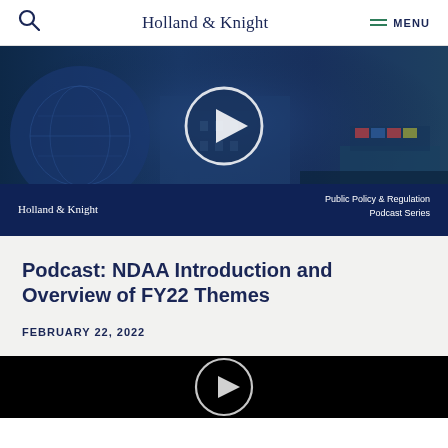Holland & Knight  MENU
[Figure (screenshot): Holland & Knight Public Policy & Regulation Podcast Series video thumbnail with play button overlay, showing collage of government building and shipping imagery on dark blue background]
Podcast: NDAA Introduction and Overview of FY22 Themes
FEBRUARY 22, 2022
[Figure (screenshot): Bottom portion of a second video player with play button on black background]